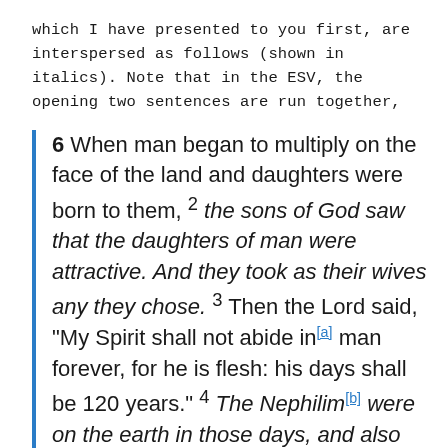which I have presented to you first, are interspersed as follows (shown in italics). Note that in the ESV, the opening two sentences are run together,
6 When man began to multiply on the face of the land and daughters were born to them, 2 the sons of God saw that the daughters of man were attractive. And they took as their wives any they chose. 3 Then the Lord said, "My Spirit shall not abide in[a] man forever, for he is flesh: his days shall be 120 years." 4 The Nephilim[b] were on the earth in those days, and also